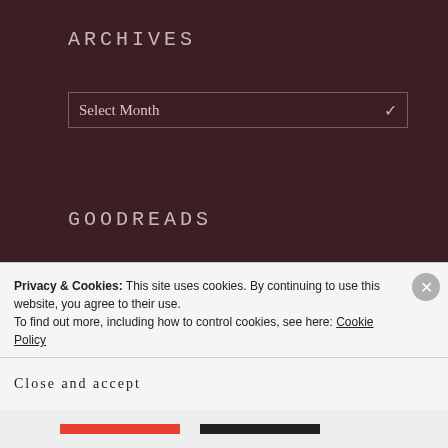ARCHIVES
Select Month
GOODREADS
I Shot the Devil
BY RUTH MCIVER
Just Like Home
BY SARAH GAILEY
Privacy & Cookies: This site uses cookies. By continuing to use this website, you agree to their use.
To find out more, including how to control cookies, see here: Cookie Policy
Close and accept